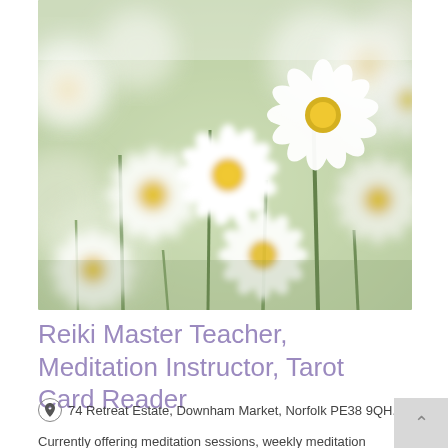[Figure (photo): Close-up photograph of white daisy flowers with yellow centers on green stems, soft-focus background, bright and airy aesthetic]
Reiki Master Teacher, Meditation Instructor, Tarot Card Reader
74 Retreat Estate, Downham Market, Norfolk PE38 9QH.
Currently offering meditation sessions, weekly meditation